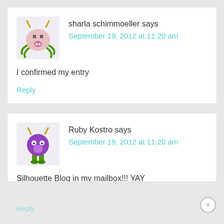sharla schimmoeller says
September 19, 2012 at 11:20 am
I confirmed my entry
Reply
Ruby Kostro says
September 19, 2012 at 11:20 am
Silhouette Blog in my mailbox!!! YAY
Reply